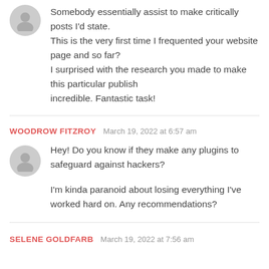Somebody essentially assist to make critically posts I'd state. This is the very first time I frequented your website page and so far? I surprised with the research you made to make this particular publish incredible. Fantastic task!
WOODROW FITZROY   March 19, 2022 at 6:57 am
Hey! Do you know if they make any plugins to safeguard against hackers?

I'm kinda paranoid about losing everything I've worked hard on. Any recommendations?
SELENE GOLDFARB   March 19, 2022 at 7:56 am